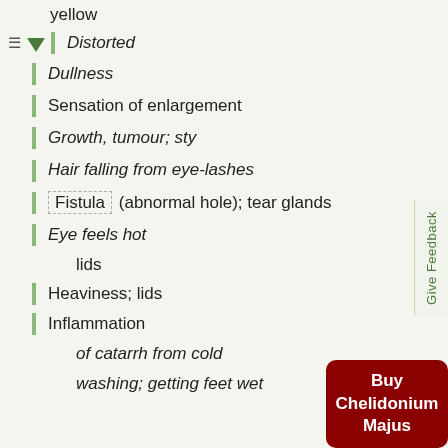yellow
Distorted
Dullness
Sensation of enlargement
Growth, tumour; sty
Hair falling from eye-lashes
Fistula (abnormal hole); tear glands
Eye feels hot
lids
Heaviness; lids
Inflammation
of catarrh from cold
washing; getting feet wet